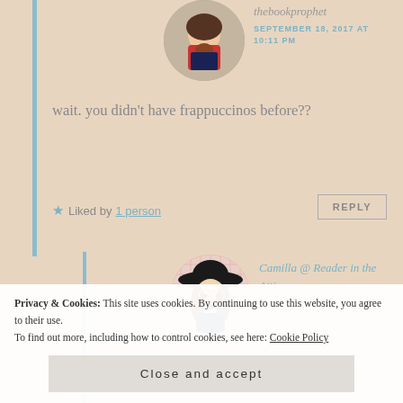[Figure (photo): Circular avatar photo of a person with long hair sitting and reading a book, in front of bookshelves]
thebookprophet
SEPTEMBER 18, 2017 AT 10:11 PM
wait. you didn't have frappuccinos before??
★ Liked by 1 person
REPLY
[Figure (illustration): Circular illustrated avatar of a person wearing a wide-brimmed hat with long brown hair and glasses, holding a book]
Camilla @ Reader in the Attic
SEPTEMBER 19, 2017 AT 9:50 AM
Not really. At least wasn't common. Like,
Privacy & Cookies: This site uses cookies. By continuing to use this website, you agree to their use.
To find out more, including how to control cookies, see here: Cookie Policy
Close and accept